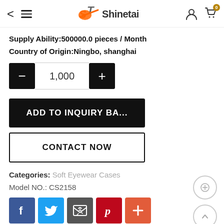Shinetai
Supply Ability:500000.0 pieces / Month
Country of Origin:Ningbo, shanghai
1,000
ADD TO INQUIRY BA...
CONTACT NOW
Categories: Soft Eyewear Cases
Model NO.: CS2158